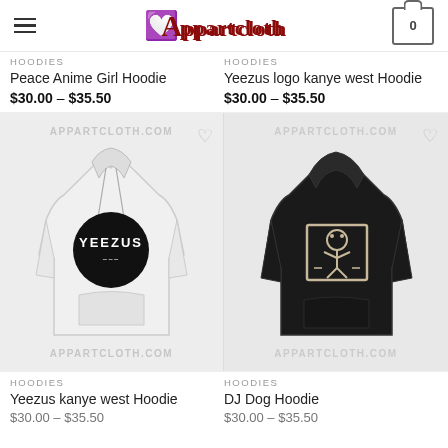Appartcloth — navigation header with hamburger menu and cart (0 items)
HOODIES
Peace Anime Girl Hoodie
$30.00 – $35.50
HOODIES
Yeezus logo kanye west Hoodie
$30.00 – $35.50
[Figure (photo): White hoodie with black circular Yeezus logo on front, shown from back, with appartcloth.com watermark]
[Figure (photo): Black DJ Dog Hoodie with line-art dog DJ graphic on front, with appartcloth.com watermark]
HOODIES
Yeezus kanye west Hoodie
HOODIES
DJ Dog Hoodie